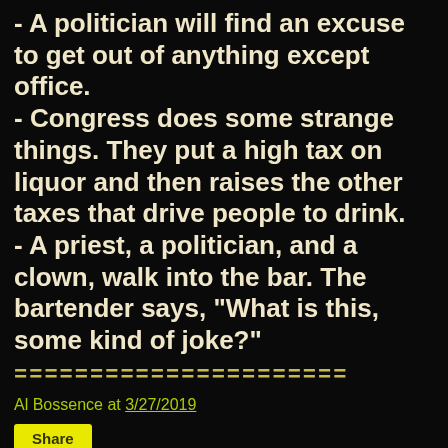- A politician will find an excuse to get out of anything except office.
- Congress does some strange things. They put a high tax on liquor and then raises the other taxes that drive people to drink.
- A priest, a politician, and a clown, walk into the bar. The bartender says, "What is this, some kind of joke?"
======================
Al Bossence at 3/27/2019
Share